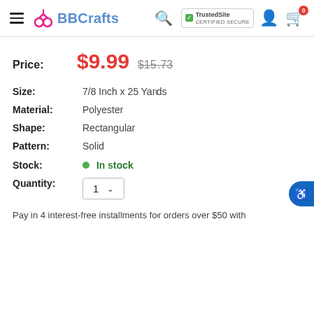BBCrafts – Navigation header with logo, search, TrustedSite badge, user account and cart (0)
Price: $9.99  $15.73
Size: 7/8 Inch x 25 Yards
Material: Polyester
Shape: Rectangular
Pattern: Solid
Stock: In stock
Quantity: 1
Pay in 4 interest-free installments for orders over $50 with